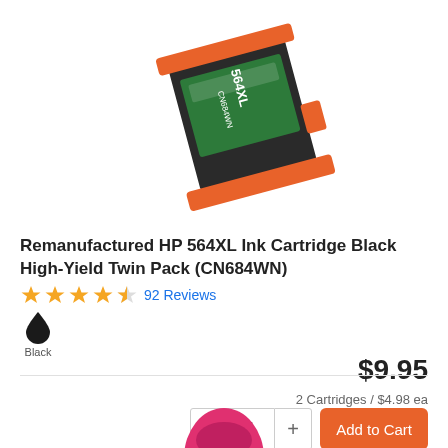[Figure (photo): HP 564XL black ink cartridge with orange holder, viewed at an angle, showing green label with CN684WN text]
Remanufactured HP 564XL Ink Cartridge Black High-Yield Twin Pack (CN684WN)
★★★★½  92 Reviews
[Figure (illustration): Black ink drop swatch icon with label 'Black']
$9.95
2 Cartridges / $4.98 ea
- 1 + Add to Cart
[Figure (photo): Bottom portion of another ink cartridge product, partially visible]